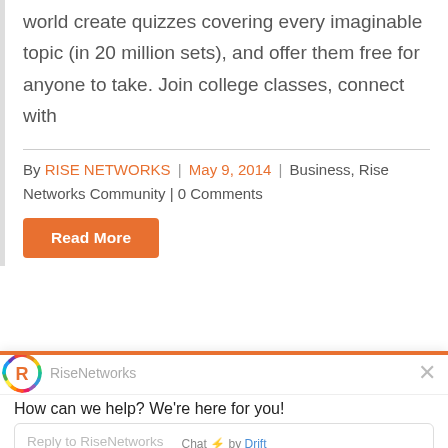world create quizzes covering every imaginable topic (in 20 million sets), and offer them free for anyone to take. Join college classes, connect with
By RISE NETWORKS | May 9, 2014 | Business, Rise Networks Community | 0 Comments
Read More
[Figure (logo): RiseNetworks circular logo with colorful gear/cog border and orange R in center]
RiseNetworks
How can we help? We're here for you!
Reply to RiseNetworks
Chat ⚡ by Drift